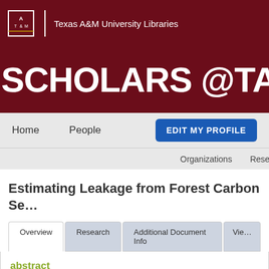Texas A&M University Libraries
SCHOLARS @TAMU
Home   People   EDIT MY PROFILE
Organizations   Research   About
Estimating Leakage from Forest Carbon Se...
Overview   Research   Additional Document Info   Vie...
abstract
Leakage from forest carbon sequestration has be...